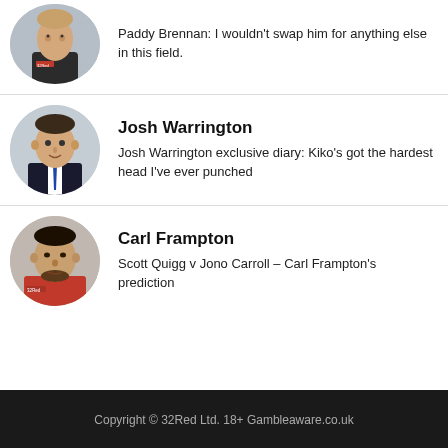[Figure (photo): Circular avatar photo of Paddy Brennan in a dark jacket with 32Red logo, partially cropped at top]
Paddy Brennan: I wouldn't swap him for anything else in this field.
[Figure (photo): Circular avatar photo of Josh Warrington in a dark suit with tie]
Josh Warrington
Josh Warrington exclusive diary: Kiko's got the hardest head I've ever punched
[Figure (photo): Circular avatar photo of Carl Frampton in a red jacket with 32Red logo]
Carl Frampton
Scott Quigg v Jono Carroll – Carl Frampton's prediction
Copyright © 32Red Ltd. 18+ Gambleaware.co.uk